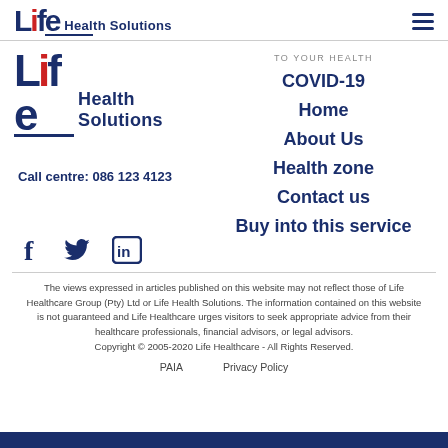Life Health Solutions
TO YOUR HEALTH
[Figure (logo): Life Health Solutions logo with red accent on letter i and blue underline]
Call centre: 086 123 4123
COVID-19
Home
About Us
Health zone
Contact us
Buy into this service
[Figure (infographic): Social media icons: Facebook (f), Twitter (bird), LinkedIn (in)]
The views expressed in articles published on this website may not reflect those of Life Healthcare Group (Pty) Ltd or Life Health Solutions. The information contained on this website is not guaranteed and Life Healthcare urges visitors to seek appropriate advice from their healthcare professionals, financial advisors, or legal advisors. Copyright © 2005-2020 Life Healthcare - All Rights Reserved.
PAIA    Privacy Policy